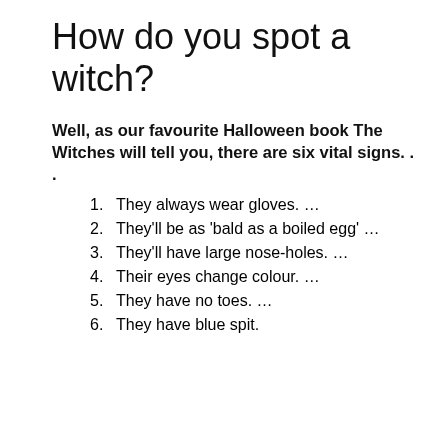How do you spot a witch?
Well, as our favourite Halloween book The Witches will tell you, there are six vital signs. . .
They always wear gloves. …
They'll be as 'bald as a boiled egg' …
They'll have large nose-holes. …
Their eyes change colour. …
They have no toes. …
They have blue spit.